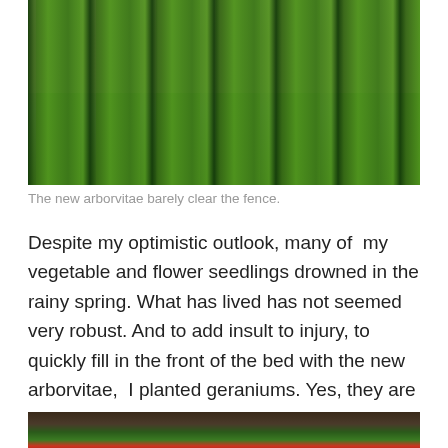[Figure (photo): Photograph of tall arborvitae evergreen trees barely clearing the top of a wooden fence behind them, with lush green foliage filling the frame.]
The new arborvitae barely clear the fence.
Despite my optimistic outlook, many of  my vegetable and flower seedlings drowned in the rainy spring. What has lived has not seemed very robust. And to add insult to injury, to quickly fill in the front of the bed with the new arborvitae,  I planted geraniums. Yes, they are hardy and colorful but they look like little old ladies.
[Figure (photo): Partial photograph at bottom of page showing geranium plants with red flowers and large dark green leaves on the ground.]